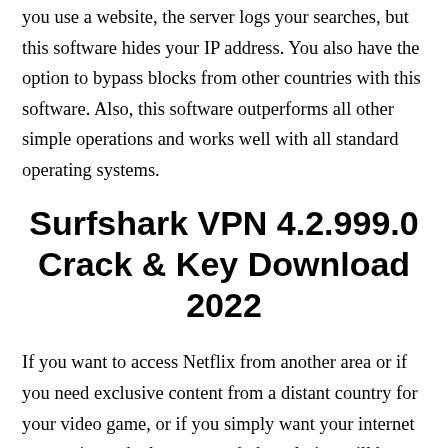you use a website, the server logs your searches, but this software hides your IP address. You also have the option to bypass blocks from other countries with this software. Also, this software outperforms all other simple operations and works well with all standard operating systems.
Surfshark VPN 4.2.999.0 Crack & Key Download 2022
If you want to access Netflix from another area or if you need exclusive content from a distant country for your video game, or if you simply want your internet connection to be less exposed, the solution will be a VPN. One potential option is the VPN offered by Surfshark VPN Crack 2022, which offers you a wide